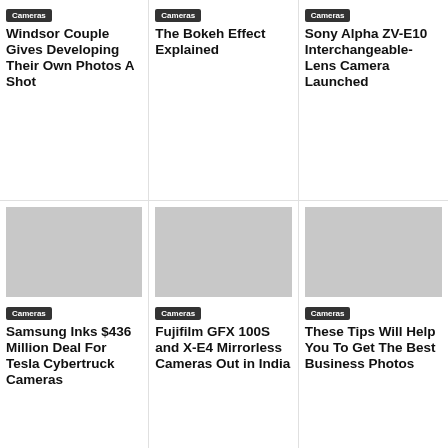Cameras
Windsor Couple Gives Developing Their Own Photos A Shot
Cameras
The Bokeh Effect Explained
Cameras
Sony Alpha ZV-E10 Interchangeable-Lens Camera Launched
Cameras
Samsung Inks $436 Million Deal For Tesla Cybertruck Cameras
Cameras
Fujifilm GFX 100S and X-E4 Mirrorless Cameras Out in India
Cameras
These Tips Will Help You To Get The Best Business Photos